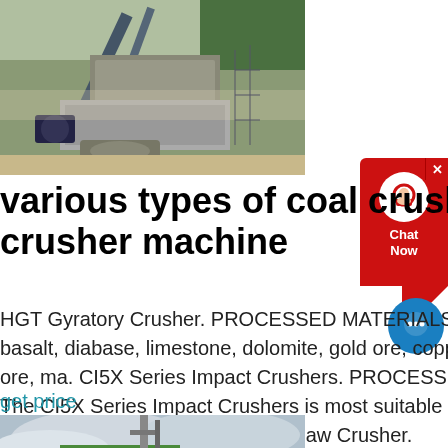[Figure (photo): Industrial stone crusher / mining plant machinery at an open-pit quarry site with conveyors and equipment]
various types of coal crusher stone crusher machine
HGT Gyratory Crusher. PROCESSED MATERIALS Granite, basalt, diabase, limestone, dolomite, gold ore, copper ore, iron ore, ma. CI5X Series Impact Crushers. PROCESSED MATERIALS The CI5X Series Impact Crushers is most suitable for crushing the materials whose. C6X Series Jaw Crusher.
get price
[Figure (photo): Partial view of a green building/structure with a crane or heavy machinery against a cloudy sky]